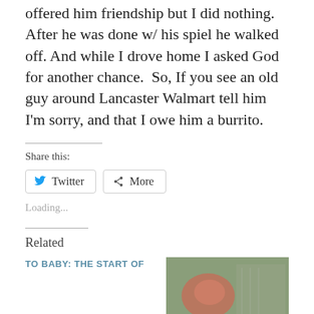offered him friendship but I did nothing. After he was done w/ his spiel he walked off. And while I drove home I asked God for another chance.  So, If you see an old guy around Lancaster Walmart tell him I'm sorry, and that I owe him a burrito.
Share this:
Loading...
Related
TO BABY: THE START OF